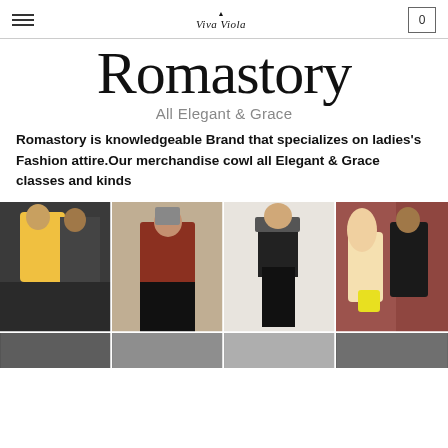Viva Viola — navigation header with hamburger menu and cart (0)
Romastory
All Elegant & Grace
Romastory is knowledgeable Brand that specializes on ladies's Fashion attire.Our merchandise cowl all Elegant & Grace classes and kinds
[Figure (photo): Grid of four fashion photos: couple in sports outfits, woman in red top mirror selfie, woman in black outfit from behind, couple in costumes with yellow bag]